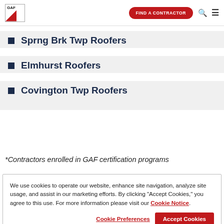GAF | FIND A CONTRACTOR
Sprng Brk Twp Roofers
Elmhurst Roofers
Covington Twp Roofers
*Contractors enrolled in GAF certification programs
We use cookies to operate our website, enhance site navigation, analyze site usage, and assist in our marketing efforts. By clicking "Accept Cookies," you agree to this use. For more information please visit our Cookie Notice.
Cookie Preferences | Accept Cookies